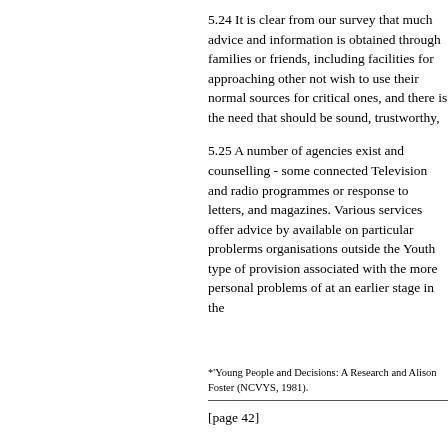5.24 It is clear from our survey that much advice and information is obtained through families or friends, including f... facilities for approaching othe... not wish to use their normal so... critical ones, and there is the n... should be sound, trustworthy,
5.25 A number of agencies exi... and counselling - some connec... Television and radio programm... or response to letters, and mag... Various services offer advice b... available on particular probler... organisations outside the Yout... type of provision associated w... the more personal problems of... at an earlier stage in the
*'Young People and Decisions: A Res... and Alison Foster (NCVYS, 1981).
[page 42]